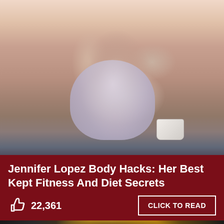[Figure (photo): Woman in a light gray/lavender bikini top, holding a white cup, posing against a pink wall with a dark window in background, head tilted back]
Jennifer Lopez Body Hacks: Her Best Kept Fitness And Diet Secrets
22,361
CLICK TO READ
[Figure (photo): Close-up photo showing a golden/metallic surface with dark background]
f
🐦
G+
+